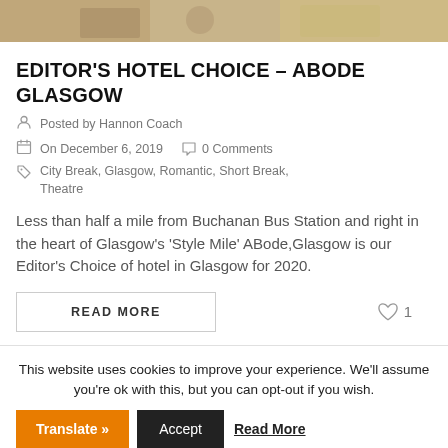[Figure (photo): Partial view of hotel interior room at the top of the page]
EDITOR'S HOTEL CHOICE – ABODE GLASGOW
Posted by Hannon Coach
On December 6, 2019   0 Comments
City Break, Glasgow, Romantic, Short Break, Theatre
Less than half a mile from Buchanan Bus Station and right in the heart of Glasgow's 'Style Mile' ABode,Glasgow is our Editor's Choice of hotel in Glasgow for 2020.
READ MORE
1
This website uses cookies to improve your experience. We'll assume you're ok with this, but you can opt-out if you wish.
Accept   Read More
Translate »